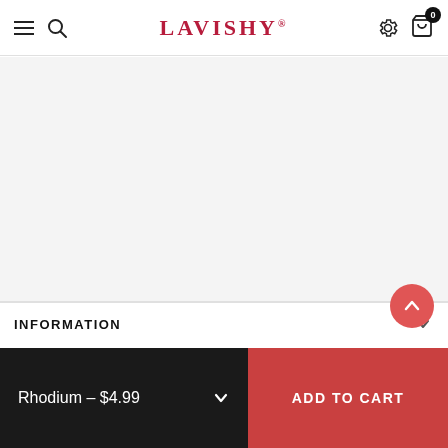LAVISHY
INFORMATION
Rhodium - $4.99
ADD TO CART